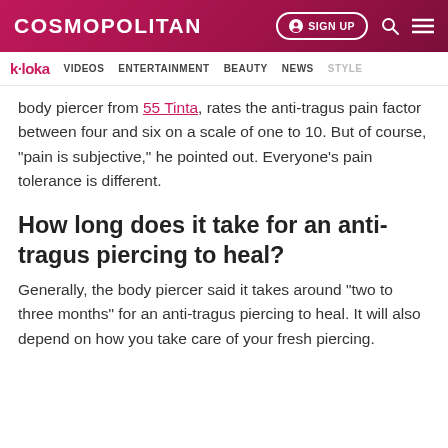COSMOPOLITAN | SIGN UP | [search] [menu]
k·loka  VIDEOS  ENTERTAINMENT  BEAUTY  NEWS  STYLE
body piercer from 55 Tinta, rates the anti-tragus pain factor between four and six on a scale of one to 10. But of course, "pain is subjective," he pointed out. Everyone's pain tolerance is different.
How long does it take for an anti-tragus piercing to heal?
Generally, the body piercer said it takes around "two to three months" for an anti-tragus piercing to heal. It will also depend on how you take care of your fresh piercing.